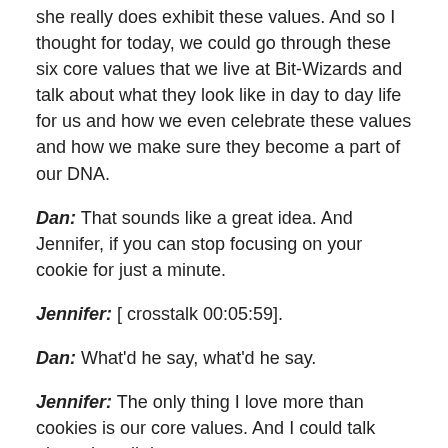she really does exhibit these values. And so I thought for today, we could go through these six core values that we live at Bit-Wizards and talk about what they look like in day to day life for us and how we even celebrate these values and how we make sure they become a part of our DNA.
Dan: That sounds like a great idea. And Jennifer, if you can stop focusing on your cookie for just a minute.
Jennifer: [ crosstalk 00:05:59].
Dan: What'd he say, what'd he say.
Jennifer: The only thing I love more than cookies is our core values. And I could talk about that all day.
Sam: I lured her here with cookies-
[scroll button] You have to limit that to 30 minutes Jennifer.
Sam: That's funny. So the way we have these set up and on